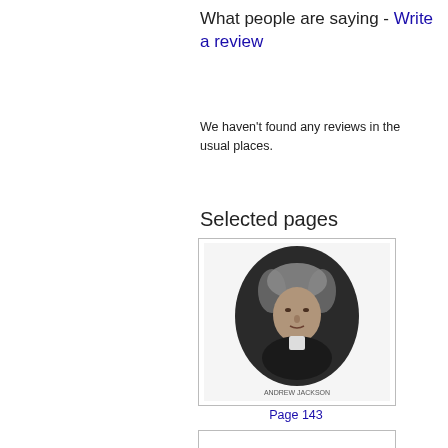What people are saying - Write a review
We haven't found any reviews in the usual places.
Selected pages
[Figure (photo): Oval portrait engraving of a historical figure, likely Andrew Jackson, with caption text below reading 'Page 143']
Page 143